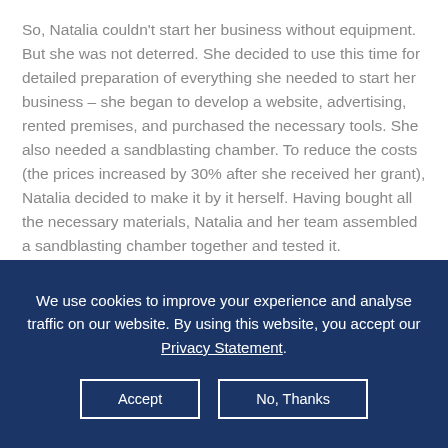So, Natalia couldn't start her business without equipment. But she was not deterred. She decided to use this time for detailed preparation of everything she needed to start her business – she began to develop a website, advertising, rented premises, and purchased the necessary tools. She also needed a sandblasting chamber. To reduce the costs (the prices increased by 30% after she received her grant), Natalia decided to make it by it herself. Having bought all the necessary materials, Natalia and her team assembled a sandblasting chamber together and tested it.
We use cookies to improve your experience and analyse traffic on our website. By using this website, you accept our Privacy Statement.